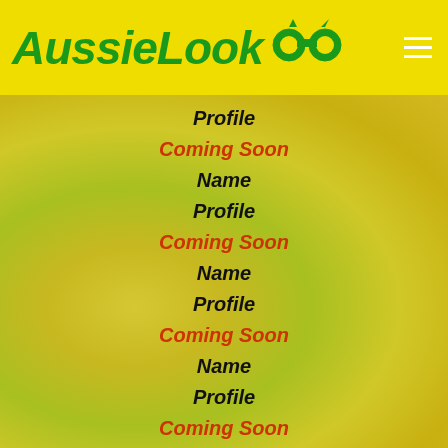AussieLook
Profile
Coming Soon
Name
Profile
Coming Soon
Name
Profile
Coming Soon
Name
Profile
Coming Soon
Name
Profile